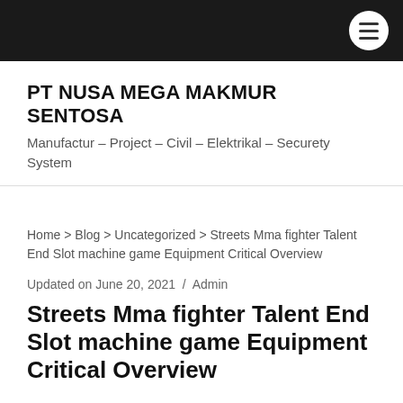≡ (menu button)
PT NUSA MEGA MAKMUR SENTOSA
Manufactur – Project – Civil – Elektrikal – Securety System
Home > Blog > Uncategorized > Streets Mma fighter Talent End Slot machine game Equipment Critical Overview
Updated on June 20, 2021  /  Admin
Streets Mma fighter Talent End Slot machine game Equipment Critical Overview